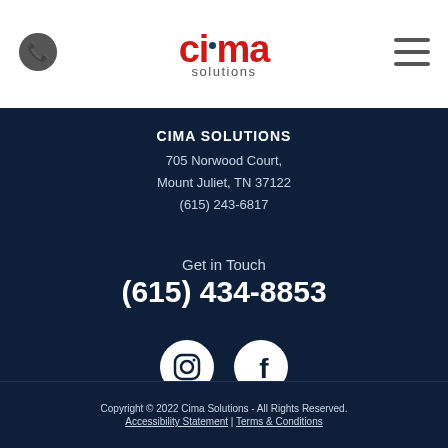[Figure (logo): Cima Solutions logo with phone icon and hamburger menu in white header]
CIMA SOLUTIONS
705 Norwood Court,
Mount Juliet, TN 37122
(615) 243-6817
Get in Touch
(615) 434-8853
[Figure (illustration): Instagram and Facebook social media icons as white circles with dark icons on dark navy background]
Copyright © 2022 Cima Solutions - All Rights Reserved.
Accessibility Statement | Terms & Conditions